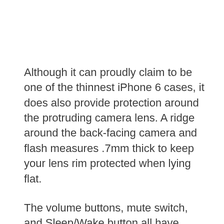Although it can proudly claim to be one of the thinnest iPhone 6 cases, it does also provide protection around the protruding camera lens. A ridge around the back-facing camera and flash measures .7mm thick to keep your lens rim protected when lying flat.
The volume buttons, mute switch, and Sleep/Wake button all have cutaways so you can easily access your iPhone 6 controls. The bottom of the case is exposed, except for the corners, to allow unfettered use of the speakers and ports.